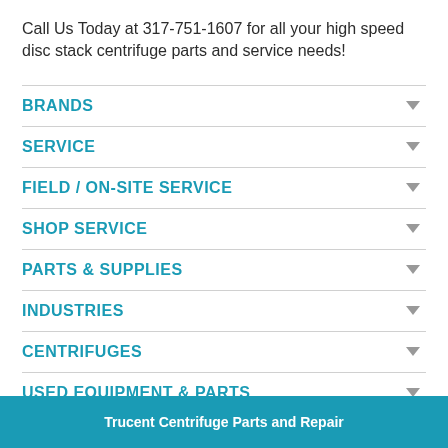Call Us Today at 317-751-1607 for all your high speed disc stack centrifuge parts and service needs!
BRANDS
SERVICE
FIELD / ON-SITE SERVICE
SHOP SERVICE
PARTS & SUPPLIES
INDUSTRIES
CENTRIFUGES
USED EQUIPMENT & PARTS
Trucent Centrifuge Parts and Repair